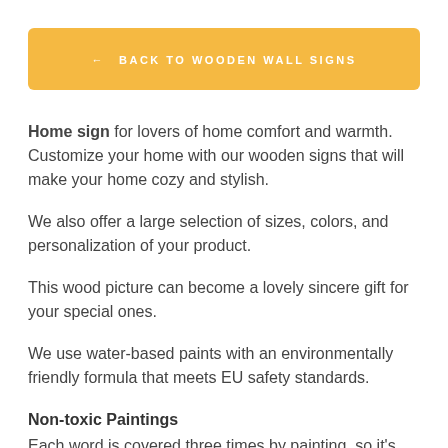← BACK TO WOODEN WALL SIGNS
Home sign for lovers of home comfort and warmth. Customize your home with our wooden signs that will make your home cozy and stylish.
We also offer a large selection of sizes, colors, and personalization of your product.
This wood picture can become a lovely sincere gift for your special ones.
We use water-based paints with an environmentally friendly formula that meets EU safety standards.
Non-toxic Paintings
Each word is covered three times by painting, so it's highly